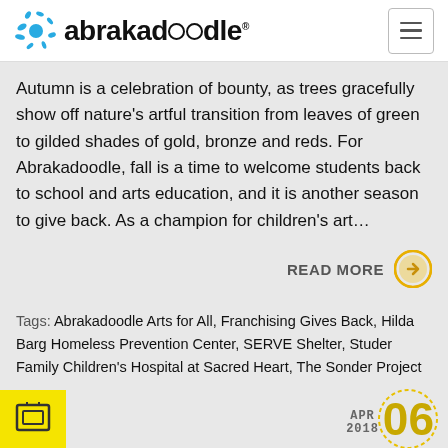abrakadoodle
Autumn is a celebration of bounty, as trees gracefully show off nature's artful transition from leaves of green to gilded shades of gold, bronze and reds. For Abrakadoodle, fall is a time to welcome students back to school and arts education, and it is another season to give back. As a champion for children's art…
READ MORE
Tags: Abrakadoodle Arts for All, Franchising Gives Back, Hilda Barg Homeless Prevention Center, SERVE Shelter, Studer Family Children's Hospital at Sacred Heart, The Sonder Project
APR 2018 06